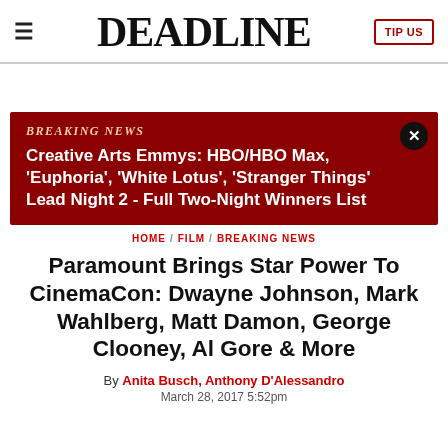DEADLINE
[Figure (other): Breaking news banner with red background reading: BREAKING NEWS - Creative Arts Emmys: HBO/HBO Max, 'Euphoria', 'White Lotus', 'Stranger Things' Lead Night 2 - Full Two-Night Winners List]
HOME / FILM / BREAKING NEWS
Paramount Brings Star Power To CinemaCon: Dwayne Johnson, Mark Wahlberg, Matt Damon, George Clooney, Al Gore & More
By Anita Busch, Anthony D'Alessandro
March 28, 2017 5:52pm